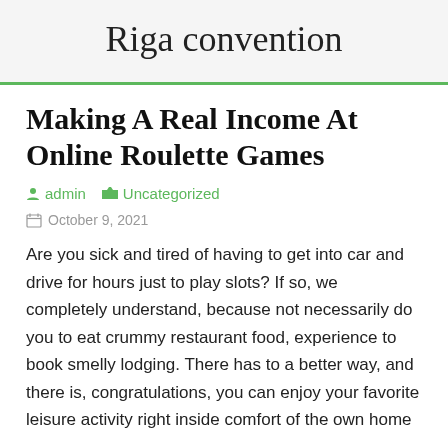Riga convention
Making A Real Income At Online Roulette Games
admin   Uncategorized
October 9, 2021
Are you sick and tired of having to get into car and drive for hours just to play slots? If so, we completely understand, because not necessarily do you to eat crummy restaurant food, experience to book smelly lodging. There has to a better way, and there is, congratulations, you can enjoy your favorite leisure activity right inside comfort of the own home